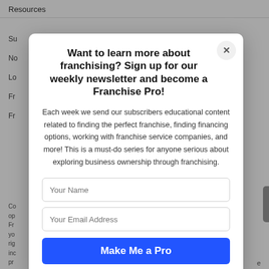Resources
Su
No
Lo
Fr
Fr
Want to learn more about franchising? Sign up for our weekly newsletter and become a Franchise Pro!
Each week we send our subscribers educational content related to finding the perfect franchise, finding financing options, working with franchise service companies, and more! This is a must-do series for anyone serious about exploring business ownership through franchising.
Your Name
Your Email Address
Make Me a Pro